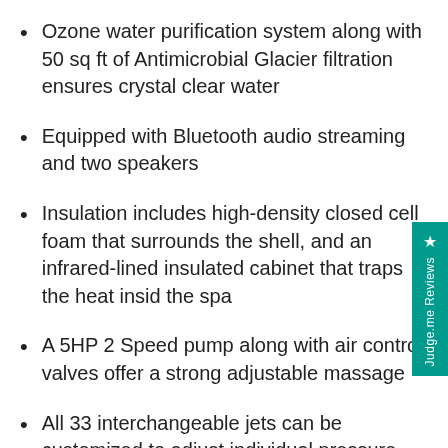Ozone water purification system along with 50 sq ft of Antimicrobial Glacier filtration ensures crystal clear water
Equipped with Bluetooth audio streaming and two speakers
Insulation includes high-density closed cell foam that surrounds the shell, and an infrared-lined insulated cabinet that traps the heat inside the spa
A 5HP 2 Speed pump along with air control valves offer a strong adjustable massage
All 33 interchangeable jets can be customized to adjust individual pressure
Includes 5 in/3 in hardtop cover, 50 sq ft Antimicrobial Glacier filtration and side...